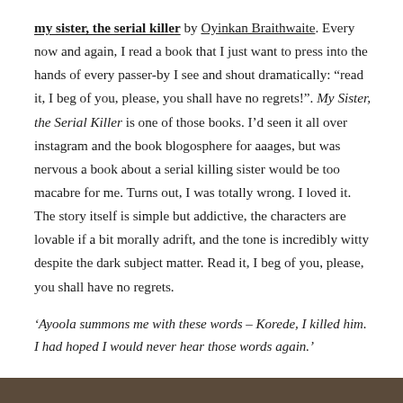my sister, the serial killer by Oyinkan Braithwaite. Every now and again, I read a book that I just want to press into the hands of every passer-by I see and shout dramatically: "read it, I beg of you, please, you shall have no regrets!". My Sister, the Serial Killer is one of those books. I'd seen it all over instagram and the book blogosphere for aaages, but was nervous a book about a serial killing sister would be too macabre for me. Turns out, I was totally wrong. I loved it. The story itself is simple but addictive, the characters are lovable if a bit morally adrift, and the tone is incredibly witty despite the dark subject matter. Read it, I beg of you, please, you shall have no regrets.
'Ayoola summons me with these words – Korede, I killed him. I had hoped I would never hear those words again.'
[Figure (photo): A dark photographic strip at the bottom of the page, partially visible.]